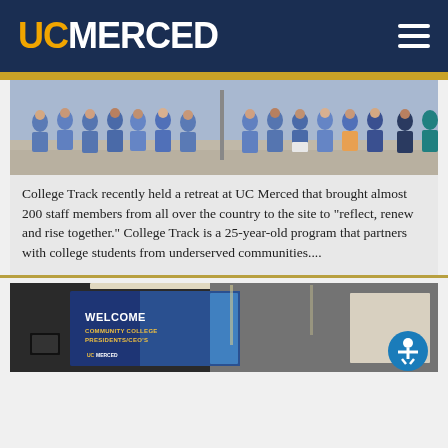UC MERCED
[Figure (photo): Group of people in blue t-shirts standing on steps, viewed from behind, at UC Merced]
College Track recently held a retreat at UC Merced that brought almost 200 staff members from all over the country to the site to "reflect, renew and rise together." College Track is a 25-year-old program that partners with college students from underserved communities....
[Figure (photo): Conference room with large screen displaying 'WELCOME COMMUNITY COLLEGE PRESIDENTS/CEO'S' presentation, with accessibility button overlay]